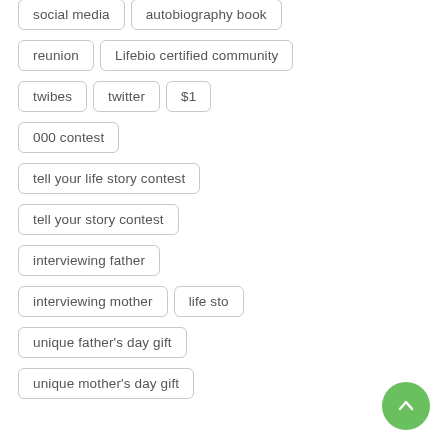social media
autobiography book
reunion
Lifebio certified community
twibes
twitter
$1
000 contest
tell your life story contest
tell your story contest
interviewing father
interviewing mother
life sto
unique father's day gift
unique mother's day gift